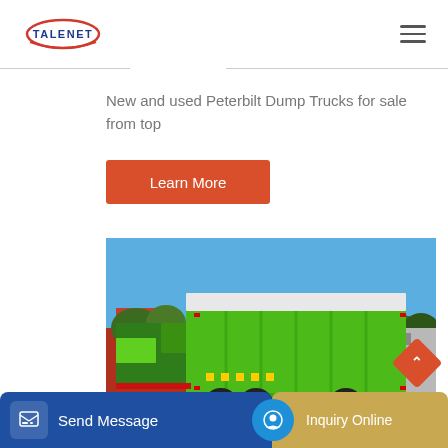[Figure (logo): Talenet company logo with red swoosh and blue text]
New and used Peterbilt Dump Trucks for sale from top
Learn More
[Figure (photo): Green dump truck (rear-side view) parked in a yard with blue sky and trees in background]
Send Message
Inquiry Online